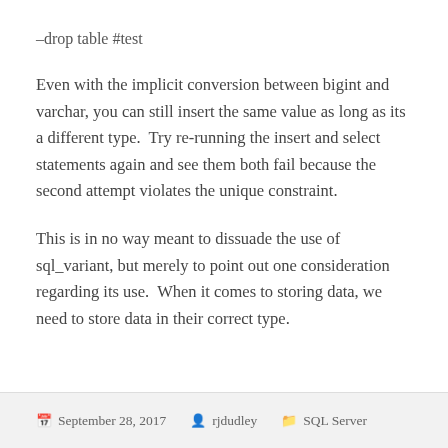–drop table #test
Even with the implicit conversion between bigint and varchar, you can still insert the same value as long as its a different type.  Try re-running the insert and select statements again and see them both fail because the second attempt violates the unique constraint.
This is in no way meant to dissuade the use of sql_variant, but merely to point out one consideration regarding its use.  When it comes to storing data, we need to store data in their correct type.
September 28, 2017   rjdudley   SQL Server